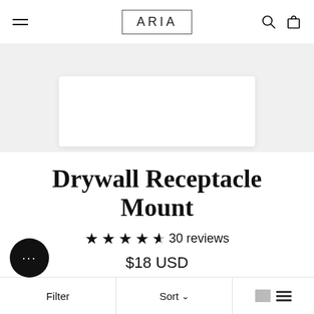ARIA — navigation bar with hamburger menu, logo, search and cart icons
[Figure (photo): Partial product image of a white Drywall Receptacle Mount on a light grey background]
Drywall Receptacle Mount
★★★★☆ 30 reviews
$18 USD
Filter | Sort ∨ | grid/list view icons